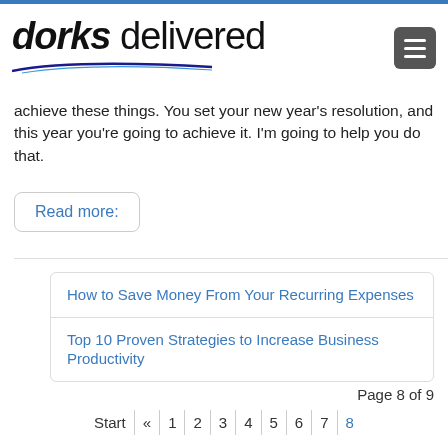[Figure (logo): Dorks Delivered logo with swoosh underline]
achieve these things. You set your new year's resolution, and this year you're going to achieve it. I'm going to help you do that.
Read more:
How to Save Money From Your Recurring Expenses
Top 10 Proven Strategies to Increase Business Productivity
Page 8 of 9
Start « 1 2 3 4 5 6 7 8